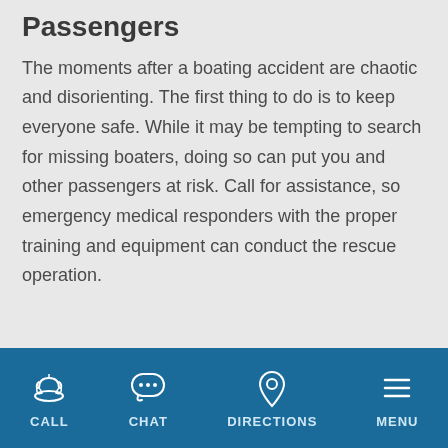Passengers
The moments after a boating accident are chaotic and disorienting. The first thing to do is to keep everyone safe. While it may be tempting to search for missing boaters, doing so can put you and other passengers at risk. Call for assistance, so emergency medical responders with the proper training and equipment can conduct the rescue operation.
CALL  CHAT  DIRECTIONS  MENU